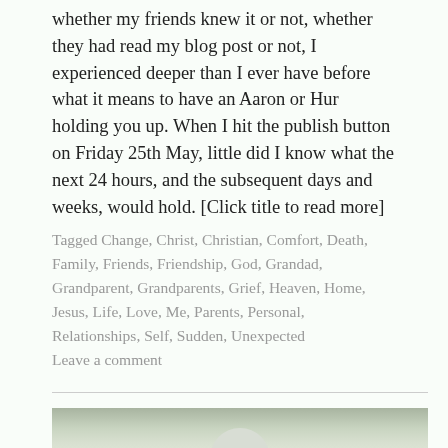whether my friends knew it or not, whether they had read my blog post or not, I experienced deeper than I ever have before what it means to have an Aaron or Hur holding you up. When I hit the publish button on Friday 25th May, little did I know what the next 24 hours, and the subsequent days and weeks, would hold. [Click title to read more]
Tagged Change, Christ, Christian, Comfort, Death, Family, Friends, Friendship, God, Grandad, Grandparent, Grandparents, Grief, Heaven, Home, Jesus, Life, Love, Me, Parents, Personal, Relationships, Self, Sudden, Unexpected
Leave a comment
[Figure (photo): Partial photograph at bottom of page showing an outdoor scene with muted green and grey tones, partially cropped]